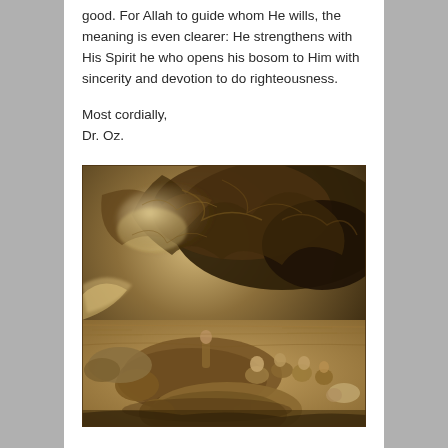good. For Allah to guide whom He wills, the meaning is even clearer: He strengthens with His Spirit he who opens his bosom to Him with sincerity and devotion to do righteousness.
Most cordially,
Dr. Oz.
[Figure (illustration): A sepia-toned engraving showing a dramatic biblical or mythological scene. Dark swirling clouds fill the upper portion. Below, several human figures are prostrated or huddled around large fallen animals (possibly cattle or oxen), set against a stormy landscape.]